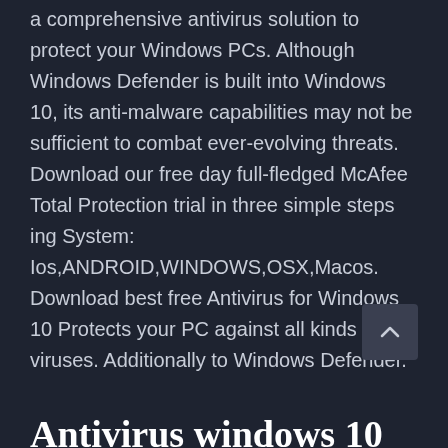a comprehensive antivirus solution to protect your Windows PCs. Although Windows Defender is built into Windows 10, its anti-malware capabilities may not be sufficient to combat ever-evolving threats. Download our free day full-fledged McAfee Total Protection trial in three simple steps ing System: Ios,ANDROID,WINDOWS,OSX,Macos. Download best free Antivirus for Windows 10 Protects your PC against all kinds of viruses. Additionally to Windows Defender.
Antivirus windows 10 free download free download.Download Windows antivirus for free